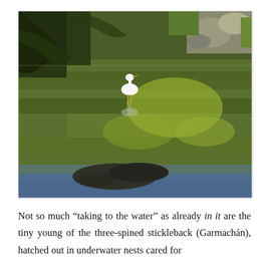[Figure (photo): A white egret standing in a shallow stream or pond, with green algae-covered water and reflections of trees. Rocky bank visible in the upper right. Dark rocks or debris visible in the foreground water.]
Not so much “taking to the water” as already in it are the tiny young of the three-spined stickleback (Garmachán), hatched out in underwater nests cared for